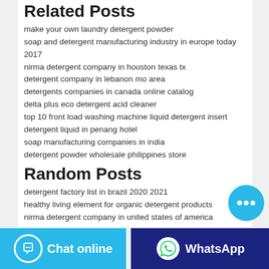Related Posts
make your own laundry detergent powder
soap and detergent manufacturing industry in europe today 2017
nirma detergent company in houston texas tx
detergent company in lebanon mo area
detergents companies in canada online catalog
delta plus eco detergent acid cleaner
top 10 front load washing machine liquid detergent insert
detergent liquid in penang hotel
soap manufacturing companies in india
detergent powder wholesale philippines store
Random Posts
detergent factory list in brazil 2020 2021
healthy living element for organic detergent products
nirma detergent company in united states of america
biological detergent company taiwan english version
supplier for detergents in china online